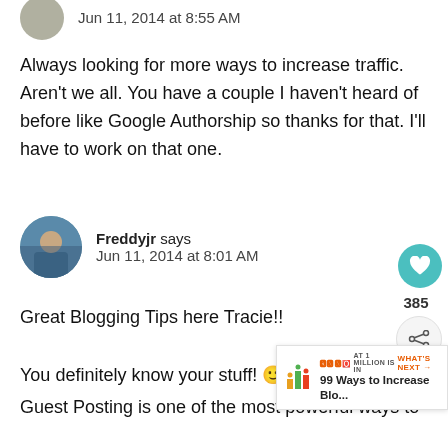Jun 11, 2014 at 8:55 AM
Always looking for more ways to increase traffic. Aren't we all. You have a couple I haven't heard of before like Google Authorship so thanks for that. I'll have to work on that one.
Freddyjr says
Jun 11, 2014 at 8:01 AM
Great Blogging Tips here Tracie!!
You definitely know your stuff! 🙂 … I wo… Guest Posting is one of the most powerful ways to